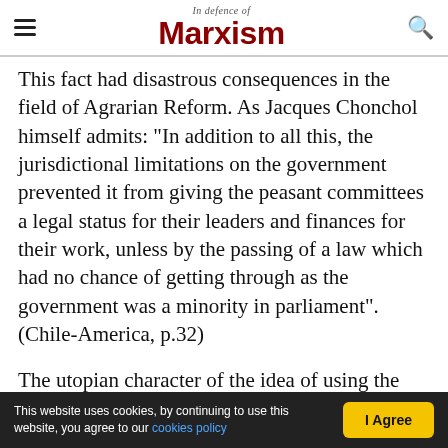In Defence of Marxism
This fact had disastrous consequences in the field of Agrarian Reform. As Jacques Chonchol himself admits: "In addition to all this, the jurisdictional limitations on the government prevented it from giving the peasant committees a legal status for their leaders and finances for their work, unless by the passing of a law which had no chance of getting through as the government was a minority in parliament". (Chile-America, p.32)
The utopian character of the idea of using the old bureaucratic apparatus of the bourgeois state to carry through the Agrarian Reform is implicitly
This website uses cookies, by continuing to use this website, you agree to our cookies policy   I Agree